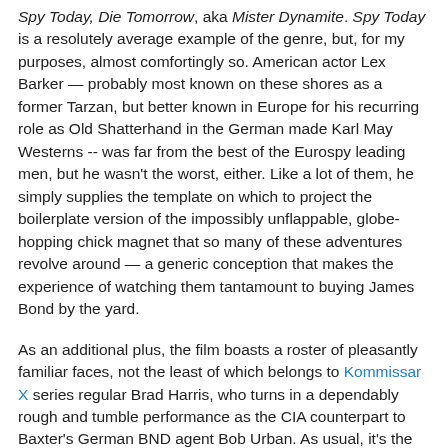Spy Today, Die Tomorrow, aka Mister Dynamite. Spy Today is a resolutely average example of the genre, but, for my purposes, almost comfortingly so. American actor Lex Barker — probably most known on these shores as a former Tarzan, but better known in Europe for his recurring role as Old Shatterhand in the German made Karl May Westerns -- was far from the best of the Eurospy leading men, but he wasn't the worst, either. Like a lot of them, he simply supplies the template on which to project the boilerplate version of the impossibly unflappable, globe-hopping chick magnet that so many of these adventures revolve around — a generic conception that makes the experience of watching them tantamount to buying James Bond by the yard.
As an additional plus, the film boasts a roster of pleasantly familiar faces, not the least of which belongs to Kommissar X series regular Brad Harris, who turns in a dependably rough and tumble performance as the CIA counterpart to Baxter's German BND agent Bob Urban. As usual, it's the job of Harris, an experienced stuntman, to take on all of the heavy lifting so that the top billed -- and, in this case, considerably older -- star is freed up to project all of that aforementioned